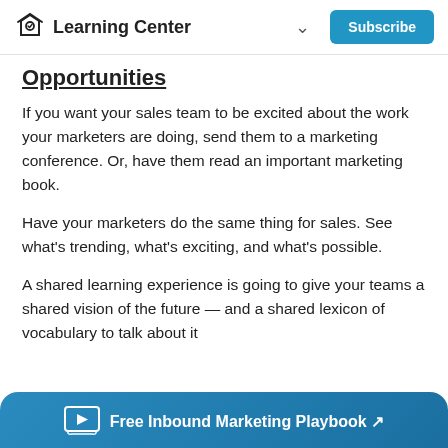Learning Center | Subscribe
Opportunities
If you want your sales team to be excited about the work your marketers are doing, send them to a marketing conference. Or, have them read an important marketing book.
Have your marketers do the same thing for sales. See what's trending, what's exciting, and what's possible.
A shared learning experience is going to give your teams a shared vision of the future — and a shared lexicon of vocabulary to talk about it
Free Inbound Marketing Playbook ↗